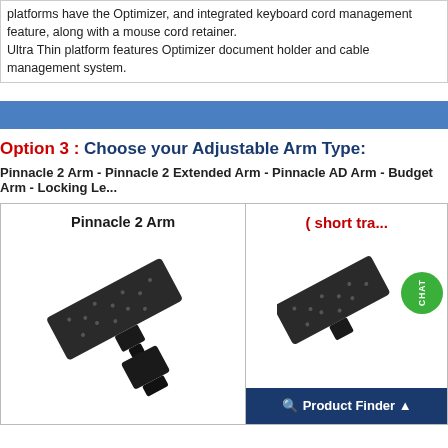platforms have the Optimizer, and integrated keyboard cord management feature, along with a mouse cord retainer.
Ultra Thin platform features Optimizer document holder and cable management system.
Option 3 : Choose your Adjustable Arm Type:
Pinnacle 2 Arm - Pinnacle 2 Extended Arm - Pinnacle AD Arm - Budget Arm - Locking Le...
[Figure (photo): Photo of Pinnacle 2 Arm keyboard platform arm, a black adjustable arm mechanism shown at an angle]
[Figure (photo): Partial photo of another arm type showing short track, with green CHAT badge overlay and Product Finder bar]